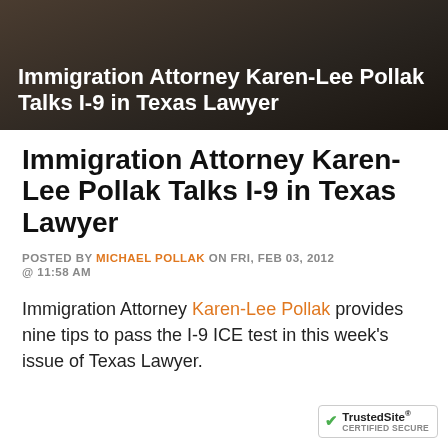[Figure (photo): Dark background header image with text overlay showing article title]
Immigration Attorney Karen-Lee Pollak Talks I-9 in Texas Lawyer
POSTED BY MICHAEL POLLAK ON FRI, FEB 03, 2012 @ 11:58 AM
Immigration Attorney Karen-Lee Pollak provides nine tips to pass the I-9 ICE test in this week's issue of Texas Lawyer.